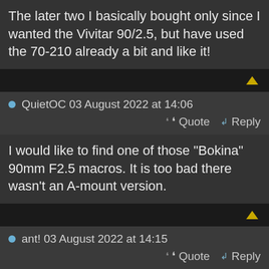The later two I basically bought only since I wanted the Vivitar 90/2.5, but have used the 70-210 already a bit and like it!
QuietOC 03 August 2022 at 14:06
Quote Reply
I would like to find one of those "Bokina" 90mm F2.5 macros. It is too bad there wasn't an A-mount version.
ant! 03 August 2022 at 14:15
Quote Reply
Yeah, haven't tried it yet, even though